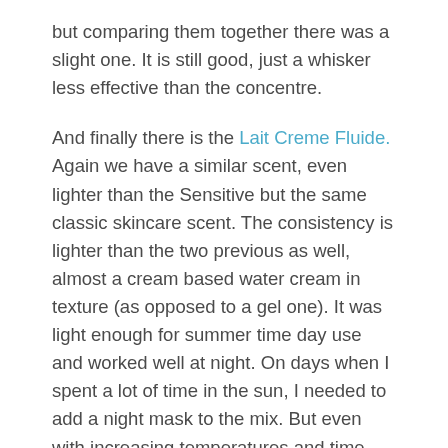but comparing them together there was a slight one. It is still good, just a whisker less effective than the concentre.
And finally there is the Lait Creme Fluide. Again we have a similar scent, even lighter than the Sensitive but the same classic skincare scent. The consistency is lighter than the two previous as well, almost a cream based water cream in texture (as opposed to a gel one). It was light enough for summer time day use and worked well at night. On days when I spent a lot of time in the sun, I needed to add a night mask to the mix. But even with increasing temperatures and time outside that was only needed once or twice a week as just a little boost.